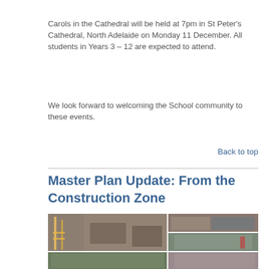Carols in the Cathedral will be held at 7pm in St Peter's Cathedral, North Adelaide on Monday 11 December. All students in Years 3 – 12 are expected to attend.
We look forward to welcoming the School community to these events.
Back to top
Master Plan Update: From the Construction Zone
[Figure (photo): Construction zone photos showing interior building work in progress with scaffolding, ladders, exposed framework and partially completed rooms.]